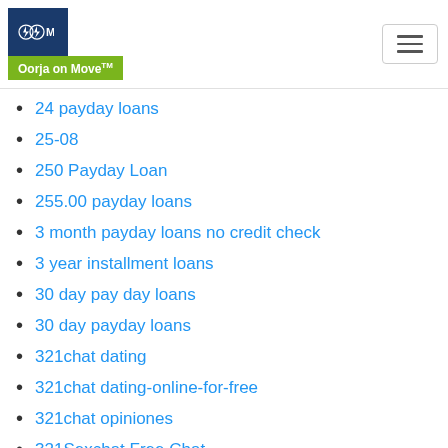Oorja on Move
24 payday loans
25-08
250 Payday Loan
255.00 payday loans
3 month payday loans no credit check
3 year installment loans
30 day pay day loans
30 day payday loans
321chat dating
321chat dating-online-for-free
321chat opiniones
321Sexchat Free Chat
40Gold preise
40Gold seiten
40goldpartnersuche.de Lies hier
40goldpartnersuche.de warum nicht hier